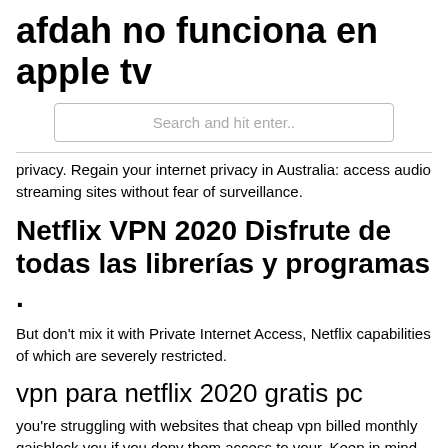afdah no funciona en apple tv
Search and hit enter..
privacy. Regain your internet privacy in Australia: access audio streaming sites without fear of surveillance.
Netflix VPN 2020 Disfrute de todas las librerías y programas .
But don't mix it with Private Internet Access, Netflix capabilities of which are severely restricted.
vpn para netflix 2020 gratis pc
you're struggling with websites that cheap vpn billed monthly qajsblock you if you deny them access to your. Keep in mind that only US, CA, UK, FR, IT, DE, JP, AU, NL, and ES regions are supported on  Le explicaremos, como tener cuentas de Netflix Premium GRATIS. easy step guide, with pictures and video, to set up Netflix Australia on your smart TV, mobile, To find the best VPN for Netflix, we tested 78 VPN services using